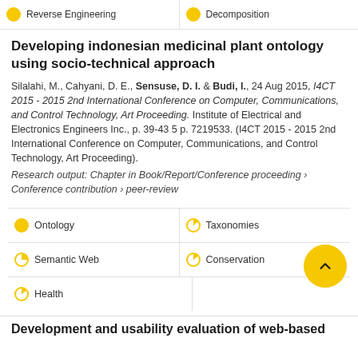Reverse Engineering
Decomposition
Developing indonesian medicinal plant ontology using socio-technical approach
Silalahi, M., Cahyani, D. E., Sensuse, D. I. & Budi, I., 24 Aug 2015, I4CT 2015 - 2015 2nd International Conference on Computer, Communications, and Control Technology, Art Proceeding. Institute of Electrical and Electronics Engineers Inc., p. 39-43 5 p. 7219533. (I4CT 2015 - 2015 2nd International Conference on Computer, Communications, and Control Technology, Art Proceeding).
Research output: Chapter in Book/Report/Conference proceeding › Conference contribution › peer-review
Ontology
Taxonomies
Semantic Web
Conservation
Health
Development and usability evaluation of web-based